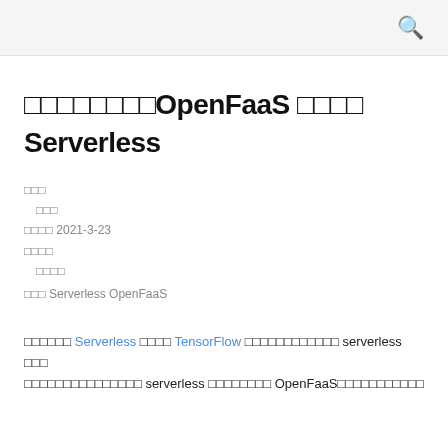□□□□□□□□OpenFaaS □□□□ Serverless
□□□
 □□□
□□□□ 2021-3-23
□□□□
 □□□□
□□□ Serverless OpenFaaS
□□□□□□ Serverless □□□□ TensorFlow □□□□□□□□□□□□ serverless □□□ □□□□□□□□□□□□□□□ serverless □□□□□□□□ OpenFaaS□□□□□□□□□□□